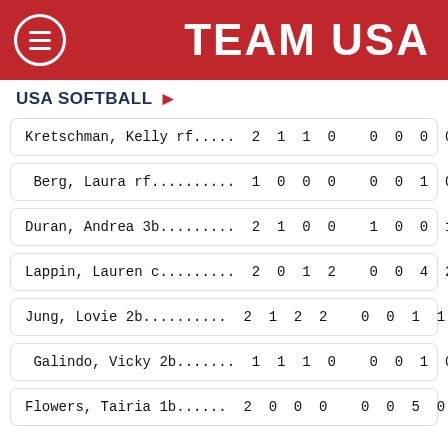TEAM USA
USA SOFTBALL >
| Player | AB | R | H | RBI | BB | SO | PO | A |
| --- | --- | --- | --- | --- | --- | --- | --- | --- |
| Kretschman, Kelly rf..... | 2 | 1 | 1 | 0 | 0 | 0 | 0 | 0 |
| Berg, Laura rf.......... | 1 | 0 | 0 | 0 | 0 | 0 | 1 | 0 |
| Duran, Andrea 3b......... | 2 | 1 | 0 | 0 | 1 | 0 | 0 | 1 |
| Lappin, Lauren c......... | 2 | 0 | 1 | 2 | 0 | 0 | 4 | 2 |
| Jung, Lovie 2b.......... | 2 | 1 | 2 | 2 | 0 | 0 | 1 | 1 |
| Galindo, Vicky 2b....... | 1 | 1 | 1 | 0 | 0 | 0 | 1 | 0 |
| Flowers, Tairia 1b...... | 2 | 0 | 0 | 0 | 0 | 0 | 5 | 0 |